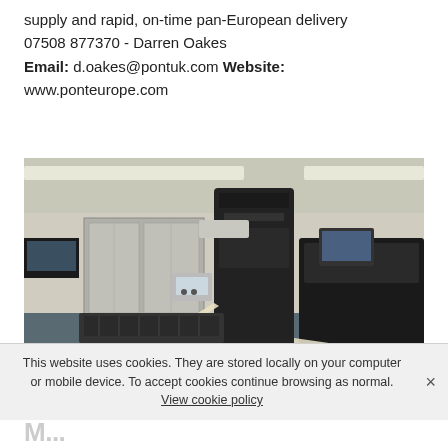supply and rapid, on-time pan-European delivery
07508 877370 - Darren Oakes
Email: d.oakes@pontuk.com Website:
www.ponteurope.com
[Figure (photo): Industrial printing or mailing machine in a large room with gray floor, black machinery in center, monitors, and paper roll/feeder mechanisms in foreground.]
This website uses cookies. They are stored locally on your computer or mobile device. To accept cookies continue browsing as normal. View cookie policy